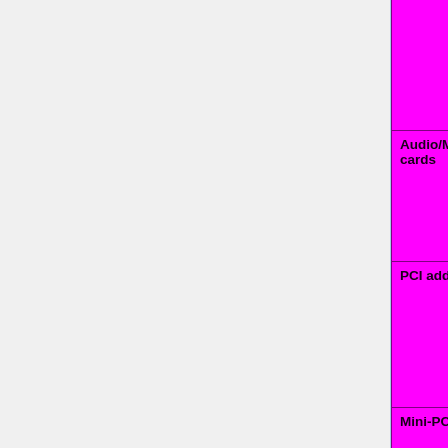| Category | Status options |
| --- | --- |
| (top row cut off) | Untested=yellow | N/A=lightgray yellow }}" | N/A |
| Audio/Modem-Riser (AMR/CNR) cards | OK=lime | TODO=red | No=red | WIP=orange Untested=yellow | N/A=lightgray yellow }}" | N/A |
| PCI add-on cards | OK=lime | TODO=red | No=red | WIP=orange Untested=yellow | N/A=lightgray yellow }}" | N/A |
| Mini-PCI add-on cards | OK=lime | TODO=red | No=red | WIP=orange Untested=yellow | N/A=lightgray |